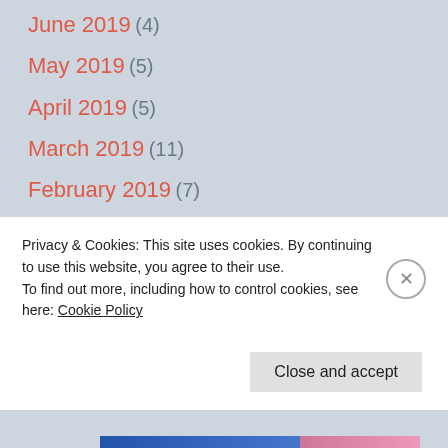June 2019 (4)
May 2019 (5)
April 2019 (5)
March 2019 (11)
February 2019 (7)
January 2019 (8)
November 2018 (11)
October 2018 (7)
September 2018 (6)
Privacy & Cookies: This site uses cookies. By continuing to use this website, you agree to their use.
To find out more, including how to control cookies, see here: Cookie Policy
Close and accept